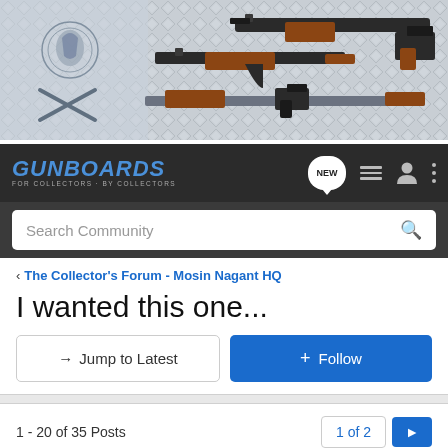[Figure (screenshot): Gunboards website banner showing military rifles and weapons on a diamond plate background, with crossed rifles and military crest on the left]
GUNBOARDS FOR COLLECTORS · BY COLLECTORS
Search Community
< The Collector's Forum - Mosin Nagant HQ
I wanted this one...
→ Jump to Latest
+ Follow
1 - 20 of 35 Posts
1 of 2 ▶
SturmGrenadier · Registered